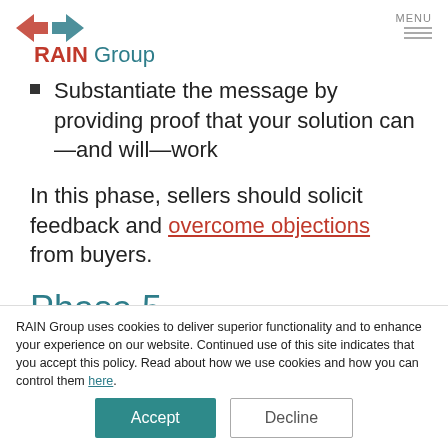RAIN Group | MENU
Substantiate the message by providing proof that your solution can—and will—work
In this phase, sellers should solicit feedback and overcome objections from buyers.
Phase 5
Phase 5 for Buyers: Commitment
RAIN Group uses cookies to deliver superior functionality and to enhance your experience on our website. Continued use of this site indicates that you accept this policy. Read about how we use cookies and how you can control them here.